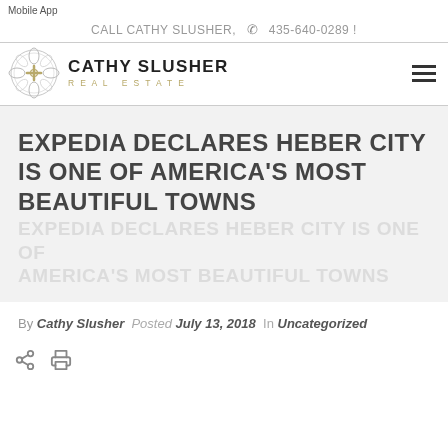Mobile App
CALL CATHY SLUSHER,  435-640-0289 !
[Figure (logo): Cathy Slusher Real Estate logo with ornate circular emblem and bold text]
EXPEDIA DECLARES HEBER CITY IS ONE OF AMERICA'S MOST BEAUTIFUL TOWNS
By Cathy Slusher  Posted July 13, 2018  In Uncategorized